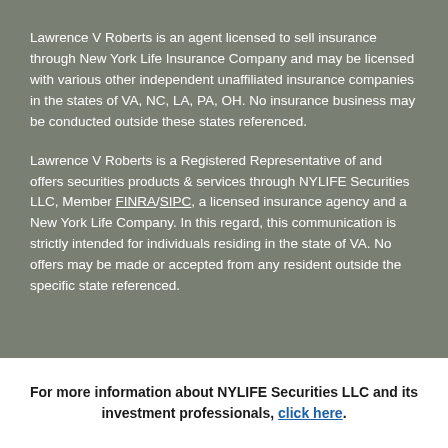Lawrence V Roberts is an agent licensed to sell insurance through New York Life Insurance Company and may be licensed with various other independent unaffiliated insurance companies in the states of VA, NC, LA, PA, OH. No insurance business may be conducted outside these states referenced.
Lawrence V Roberts is a Registered Representative of and offers securities products & services through NYLIFE Securities LLC, Member FINRA/SIPC, a licensed insurance agency and a New York Life Company. In this regard, this communication is strictly intended for individuals residing in the state of VA. No offers may be made or accepted from any resident outside the specific state referenced.
For more information about NYLIFE Securities LLC and its investment professionals, click here.